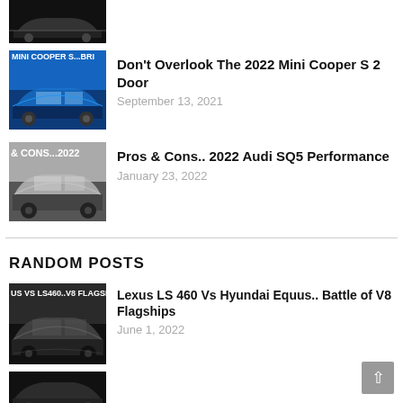[Figure (photo): Partial car thumbnail at top, dark background, car silhouette visible]
[Figure (photo): Blue Mini Cooper S thumbnail with text MINI COOPER S...BRI overlay]
Don't Overlook The 2022 Mini Cooper S 2 Door
September 13, 2021
[Figure (photo): Silver/white Audi SQ5 thumbnail with text & CONS...2022 overlay]
Pros & Cons.. 2022 Audi SQ5 Performance
January 23, 2022
RANDOM POSTS
[Figure (photo): Dark sedan Lexus/Hyundai thumbnail with text US VS LS460..V8 FLAGS overlay]
Lexus LS 460 Vs Hyundai Equus.. Battle of V8 Flagships
June 1, 2022
[Figure (photo): Partial thumbnail at bottom, dark car]